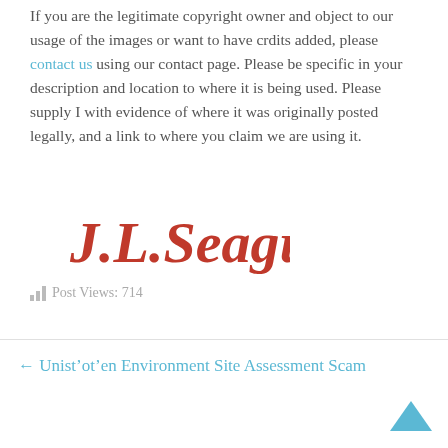If you are the legitimate copyright owner and object to our usage of the images or want to have crdits added, please contact us using our contact page. Please be specific in your description and location to where it is being used. Please supply I with evidence of where it was originally posted legally, and a link to where you claim we are using it.
[Figure (illustration): Handwritten cursive signature reading 'J.L.Seagull' in red ink style]
Post Views: 714
← Unist'ot'en Environment Site Assessment Scam